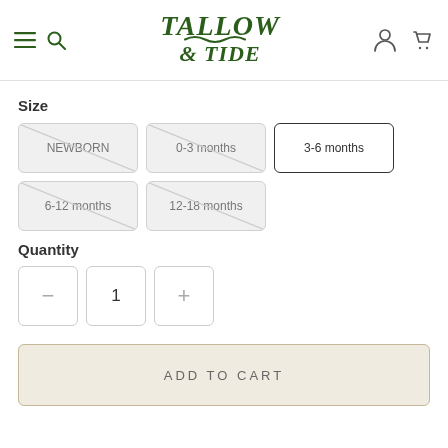Tallow & Tide
Size
NEWBORN
0-3 months
3-6 months
6-12 months
12-18 months
Quantity
1
ADD TO CART